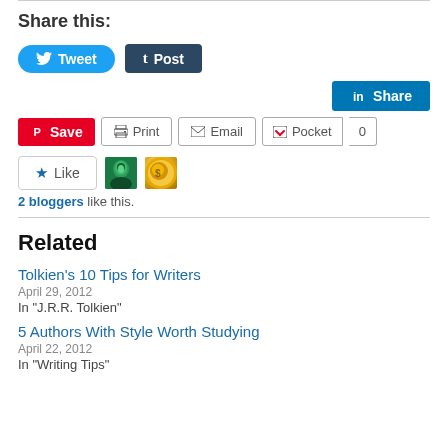Share this:
[Figure (screenshot): Social sharing buttons: Tweet (Twitter), Post (Tumblr), Share (LinkedIn), Save (Pinterest), Print, Email, Pocket with count 0]
[Figure (screenshot): Like button with star icon and two blogger avatars]
2 bloggers like this.
Related
Tolkien's 10 Tips for Writers
April 29, 2012
In "J.R.R. Tolkien"
5 Authors With Style Worth Studying
April 22, 2012
In "Writing Tips"